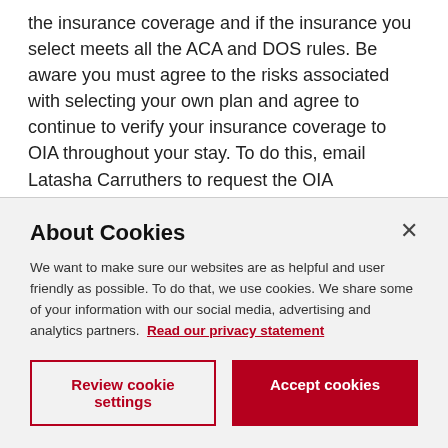the insurance coverage and if the insurance you select meets all the ACA and DOS rules. Be aware you must agree to the risks associated with selecting your own plan and agree to continue to verify your insurance coverage to OIA throughout your stay. To do this, email Latasha Carruthers to request the OIA ACA/DOS Alternate Health Insurance Compliance Application form. Complete the application form and return it to her. She will notify you if you have received approval to use an ACA alternate health insurance plan which also meets DOS requirements. To learn more
About Cookies
We want to make sure our websites are as helpful and user friendly as possible. To do that, we use cookies. We share some of your information with our social media, advertising and analytics partners. Read our privacy statement
Review cookie settings
Accept cookies